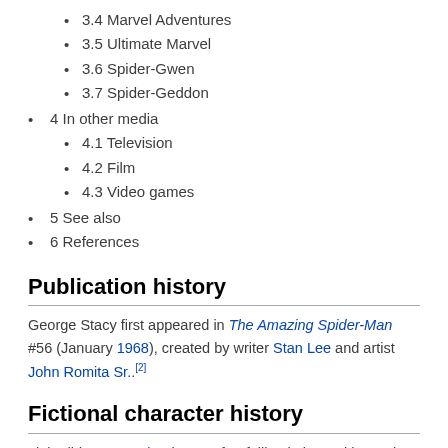3.4 Marvel Adventures
3.5 Ultimate Marvel
3.6 Spider-Gwen
3.7 Spider-Geddon
4 In other media
4.1 Television
4.2 Film
4.3 Video games
5 See also
6 References
Publication history
George Stacy first appeared in The Amazing Spider-Man #56 (January 1968), created by writer Stan Lee and artist John Romita Sr..[2]
Fictional character history
Little did Peter Parker know, after falling in love with Empire